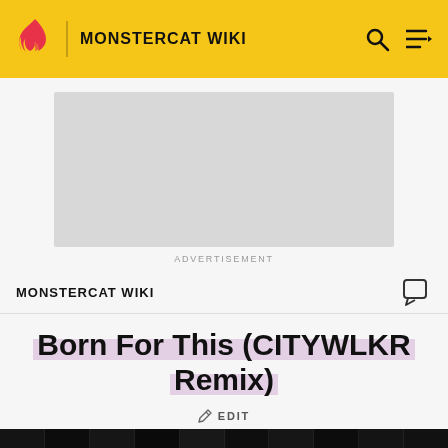MONSTERCAT WIKI
[Figure (screenshot): Advertisement placeholder - grey rectangle with ADVERTISEMENT label below]
MONSTERCAT WIKI
Born For This (CITYWLKR Remix)
EDIT
[Figure (photo): Dark image with vertical black strips and a small icon box in the bottom right corner]